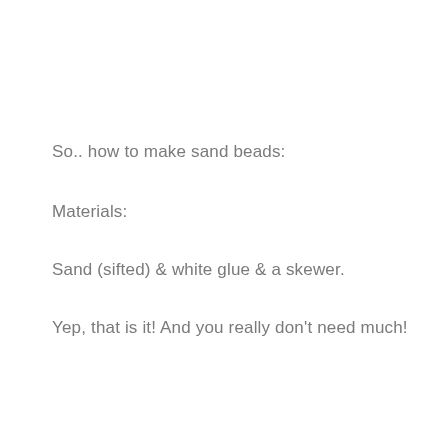So.. how to make sand beads:
Materials:
Sand (sifted) & white glue & a skewer.
Yep, that is it! And you really don't need much!